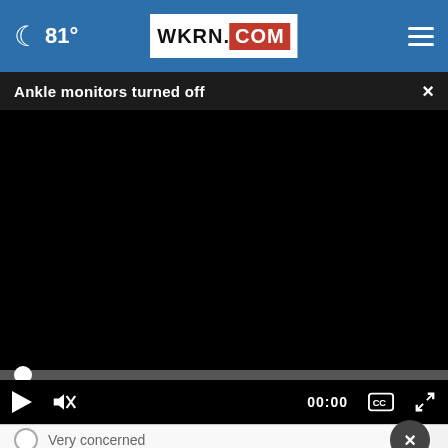81° WKRN.COM
Ankle monitors turned off
[Figure (screenshot): Black video player area showing a paused/unloaded video with progress bar at beginning (00:00), play button, mute button, timestamp 00:00, CC button, and fullscreen button.]
Very concerned
Somewhat concerned
Not at all concerned
[Figure (infographic): Petco advertisement banner: 'Get Your Pet Ready For Summe' with Petco logo and navigation arrow icon.]